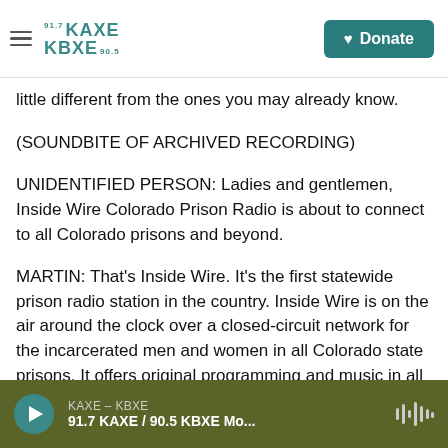KAXE 91.7 / KBXE 90.5 — Donate
little different from the ones you may already know.
(SOUNDBITE OF ARCHIVED RECORDING)
UNIDENTIFIED PERSON: Ladies and gentlemen, Inside Wire Colorado Prison Radio is about to connect to all Colorado prisons and beyond.
MARTIN: That's Inside Wire. It's the first statewide prison radio station in the country. Inside Wire is on the air around the clock over a closed-circuit network for the incarcerated men and women in all Colorado state prisons. It offers original programming and music in all genres, and it's also
KAXE – KBXE
91.7 KAXE / 90.5 KBXE Mo...